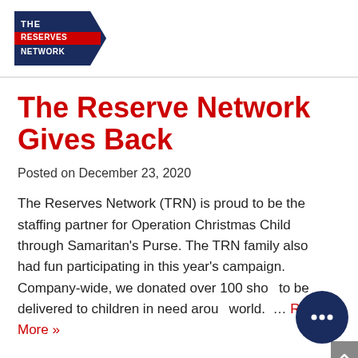[Figure (logo): The Reserves Network logo — dark navy pentagon/arrow shape with red stripe, white text reading THE RESERVES NETWORK]
The Reserve Network Gives Back
Posted on December 23, 2020
The Reserves Network (TRN) is proud to be the staffing partner for Operation Christmas Child through Samaritan's Purse. The TRN family also had fun participating in this year's campaign. Company-wide, we donated over 100 sho... to be delivered to children in need arou... world.  … Read More »